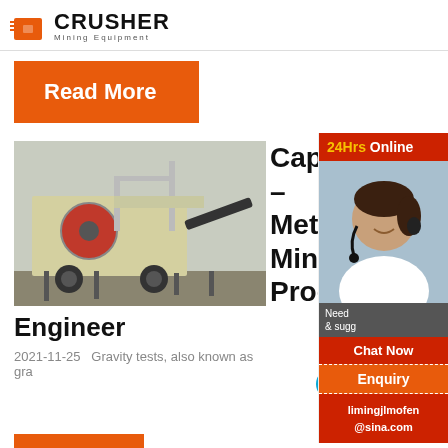[Figure (logo): Crusher Mining Equipment logo with red shopping bag icon and bold CRUSHER text]
Read More
[Figure (photo): Mobile jaw crusher machine on a trailer in an outdoor industrial area]
Capa
-
Metal
Miner
Proce
Engineer
2021-11-25   Gravity tests, also known as gra
[Figure (infographic): 24Hrs Online sidebar with customer service rep photo, chat button, enquiry, and limingjlmofen@sina.com]